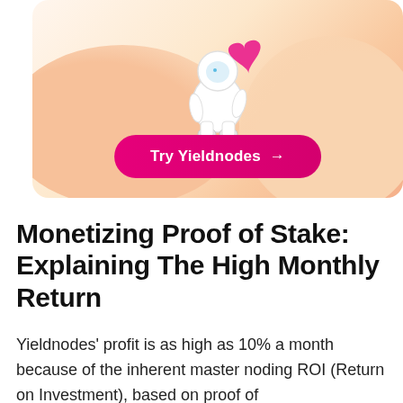[Figure (illustration): Banner with peach/orange gradient background and wavy shapes. An astronaut character in white suit holding a large pink heart is centered at the top. Below the astronaut is a pink rounded button labeled 'Try Yieldnodes →'.]
Monetizing Proof of Stake: Explaining The High Monthly Return
Yieldnodes' profit is as high as 10% a month because of the inherent master noding ROI (Return on Investment), based on proof of